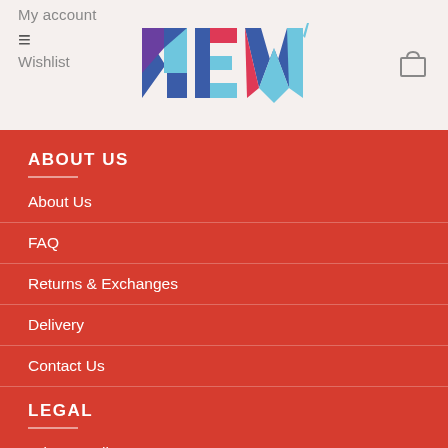My account / Wishlist
[Figure (logo): NEW' colorful logo with letters N, E, W in gradient colors (blue, purple, red, teal)]
ABOUT US
About Us
FAQ
Returns & Exchanges
Delivery
Contact Us
LEGAL
Privacy Policy